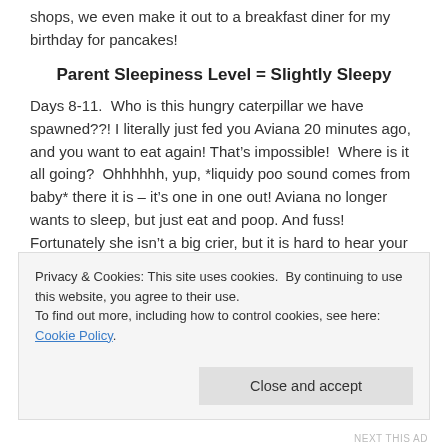shops, we even make it out to a breakfast diner for my birthday for pancakes!
Parent Sleepiness Level = Slightly Sleepy
Days 8-11.  Who is this hungry caterpillar we have spawned??! I literally just fed you Aviana 20 minutes ago, and you want to eat again! That’s impossible!  Where is it all going?  Ohhhhhh, yup, *liquidy poo sound comes from baby* there it is – it’s one in one out! Aviana no longer wants to sleep, but just eat and poop. And fuss! Fortunately she isn’t a big crier, but it is hard to hear your baby get upset for seemingly no reason.  Those preemie clothes we bought 5
Privacy & Cookies: This site uses cookies.  By continuing to use this website, you agree to their use.
To find out more, including how to control cookies, see here: Cookie Policy
Close and accept